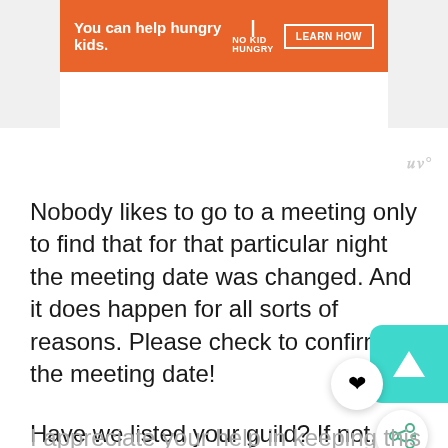[Figure (other): Orange advertisement banner for No Kid Hungry with text 'You can help hungry kids.' and a 'LEARN HOW' button]
Nobody likes to go to a meeting only to find that for that particular night the meeting date was changed. And it does happen for all sorts of reasons. Please check to confirm the meeting date!
Have we listed your guild? If not, please add it using the blue button below. If you need to make a change to a listing, use the same button.
I appreciate your help in keeping this up to